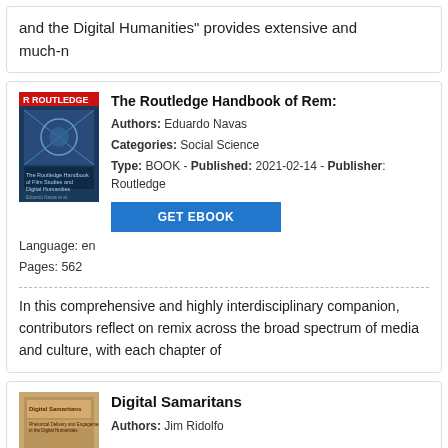and the Digital Humanities" provides extensive and much-n
The Routledge Handbook of Rem:
Authors: Eduardo Navas
Categories: Social Science
Type: BOOK - Published: 2021-02-14 - Publisher: Routledge
Language: en
Pages: 562
In this comprehensive and highly interdisciplinary companion, contributors reflect on remix across the broad spectrum of media and culture, with each chapter of
Digital Samaritans
Authors: Jim Ridolfo